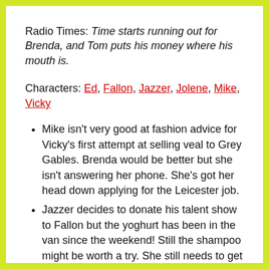Radio Times: Time starts running out for Brenda, and Tom puts his money where his mouth is.
Characters: Ed, Fallon, Jazzer, Jolene, Mike, Vicky
Mike isn't very good at fashion advice for Vicky's first attempt at selling veal to Grey Gables. Brenda would be better but she isn't answering her phone. She's got her head down applying for the Leicester job.
Jazzer decides to donate his talent show to Fallon but the yoghurt has been in the van since the weekend! Still the shampoo might be worth a try. She still needs to get her licensing training done and they'll need extra help too and Jazzer offers but Jolene isn't convinced